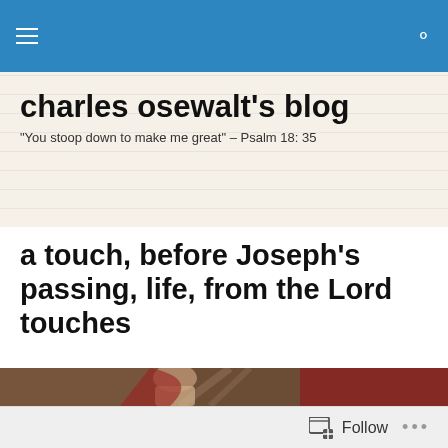charles osewalt's blog navigation bar
charles osewalt's blog
"You stoop down to make me great" – Psalm 18: 35
a touch, before Joseph's passing, life, from the Lord touches
[Figure (photo): Classical painting showing a robed figure leaning over another reclining figure, with red drapery in the background — likely depicting a biblical scene of Joseph or a similar figure.]
Follow